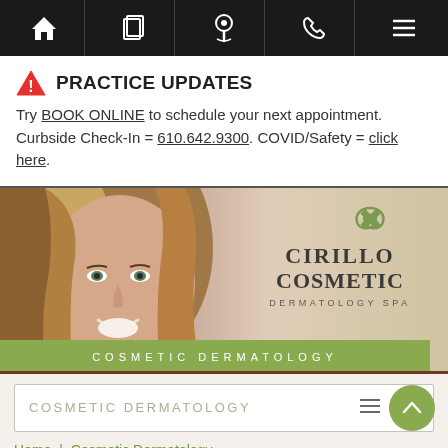Navigation bar with home, pages, location, phone, and menu icons
PRACTICE UPDATES
Try BOOK ONLINE to schedule your next appointment. Curbside Check-In = 610.642.9300. COVID/Safety = click here.
[Figure (photo): Banner image with woman smiling, Cirillo Cosmetic Dermatology Spa logo with green swirl, and green bar reading COSMETIC DERMATOLOGY]
COSMETIC DERMATOLOGY
Home | Cosmetic Dermatology